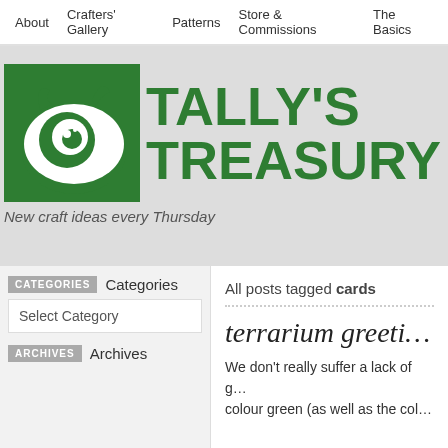About | Crafters' Gallery | Patterns | Store & Commissions | The Basics
[Figure (logo): Tally's Treasury logo: green monster with one eye inside a green-bordered box, next to bold green text reading TALLY'S TREASURY]
New craft ideas every Thursday
CATEGORIES Categories
Select Category
ARCHIVES Archives
All posts tagged cards
terrarium greeti...
We don't really suffer a lack of g... colour green (as well as the col...